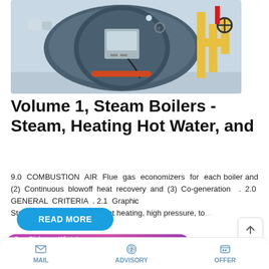[Figure (photo): Industrial steam boiler with blue/grey casing, control box mounted on front, yellow and orange pipes visible on the right side in a plant facility]
Volume 1, Steam Boilers - Steam, Heating Hot Water, and
9.0 COMBUSTION AIR Flue gas economizers for each boiler and (2) Continuous blowoff heat recovery and (3) Co-generation . 2.0 GENERAL CRITERIA . 2.1 Graphic Standards: 2.1.1 Central plant heating, high pressure, to...
READ MORE
Save Stickers on WhatsApp
MAIL   ADVISORY   OFFER